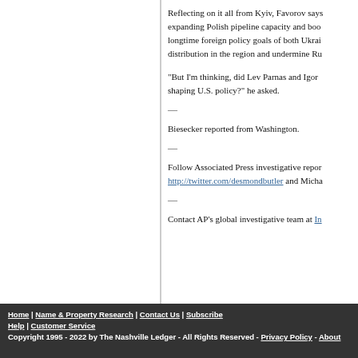Reflecting on it all from Kyiv, Favorov says expanding Polish pipeline capacity and boosting longtime foreign policy goals of both Ukrai... distribution in the region and undermine Ru...
"But I'm thinking, did Lev Parnas and Igor shaping U.S. policy?" he asked.
Biesecker reported from Washington.
Follow Associated Press investigative repor... http://twitter.com/desmondbutler and Micha...
Contact AP's global investigative team at In...
Home | Name & Property Research | Contact Us | Subscribe
Help | Customer Service
Copyright 1995 - 2022 by The Nashville Ledger - All Rights Reserved - Privacy Policy - About